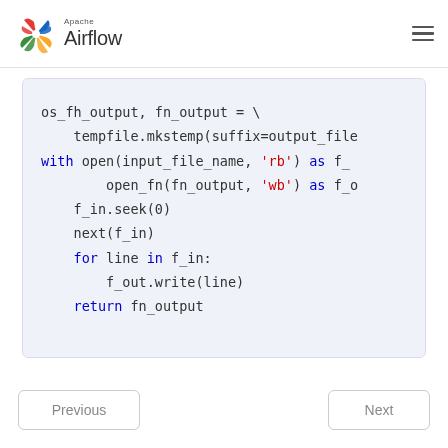Apache Airflow
[Figure (screenshot): Apache Airflow logo with pinwheel icon in red, blue, green, yellow]
os_fh_output, fn_output = \
    tempfile.mkstemp(suffix=output_file
with open(input_file_name, 'rb') as f_
        open_fn(fn_output, 'wb') as f_o
    f_in.seek(0)
    next(f_in)
    for line in f_in:
        f_out.write(line)
    return fn_output
Previous    Next